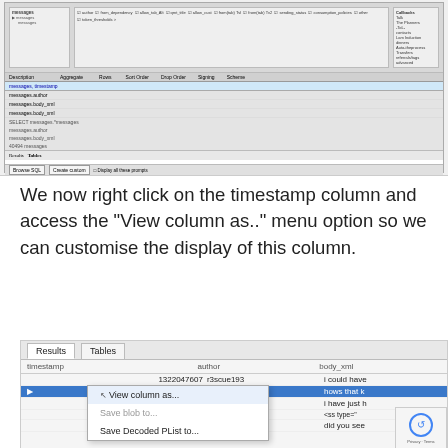[Figure (screenshot): Screenshot of a database browser tool showing tables panel on left, query results in the center with colored rows, and a right-side panel with column list. Bottom section shows SQL query results with columns: attribute, value. Multiple rows visible with some highlighted in green and blue.]
We now right click on the timestamp column and access the “View column as..” menu option so we can customise the display of this column.
[Figure (screenshot): Screenshot of database tool showing Results/Tables tabs. Data table with columns: timestamp, author, body_xml. Rows show: 1322047607 r3scue193 'i could have', 1322047614 r3scue193 'hows that k' (selected/highlighted in blue). A right-click context menu is visible showing: 'View column as...' (with cursor arrow), 'Save blob to...', 'Save Decoded PList to...' and 'did you see' partial row below.]